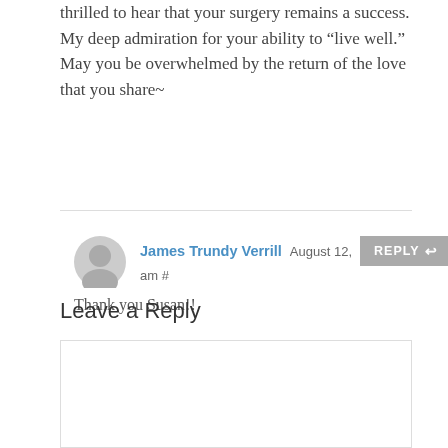thrilled to hear that your surgery remains a success. My deep admiration for your ability to “live well.” May you be overwhelmed by the return of the love that you share~
James Trundy Verrill August 12 am #
Thank you Susan!!
Leave a Reply